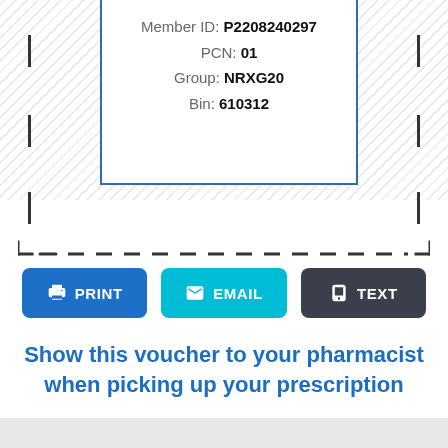Member ID: P2208240297
PCN: 01
Group: NRXG20
Bin: 610312
[Figure (other): Three action buttons: PRINT (blue), EMAIL (cyan), TEXT (dark gray)]
Show this voucher to your pharmacist when picking up your prescription